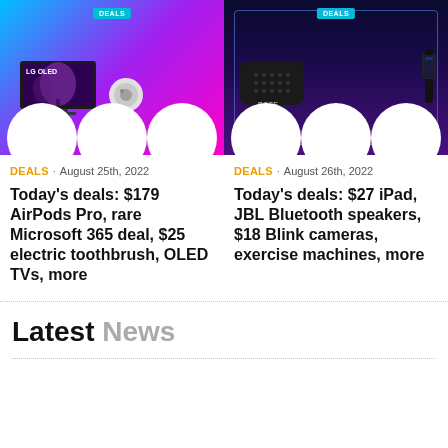[Figure (photo): Left card image with colorful gradient background (blue to purple to pink), white circles at bottom, LG OLED TV and AirTag product images, DEALS badge at top]
DEALS · August 25th, 2022
Today's deals: $179 AirPods Pro, rare Microsoft 365 deal, $25 electric toothbrush, OLED TVs, more
[Figure (photo): Right card image with dark purple/black gradient background, neon blue rectangle border, white circles at bottom, Bose speaker and fitness band product images, DEALS badge at top]
DEALS · August 26th, 2022
Today's deals: $27 iPad, JBL Bluetooth speakers, $18 Blink cameras, exercise machines, more
Latest News